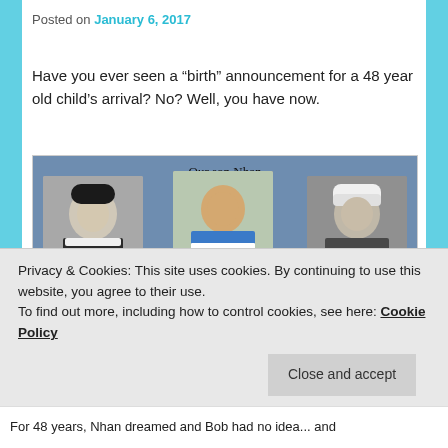Posted on January 6, 2017
Have you ever seen a “birth” announcement for a 48 year old child’s arrival? No? Well, you have now.
[Figure (photo): Announcement card titled 'Our son Nhan' showing three figures on a blue background: a young man in Navy uniform on the left (labeled 'Grandfather/sponsor Bob, One who was like Bob'), a middle-aged man in a blue striped polo in the center, and an older man in military police uniform on the right (labeled 'Father Bob, aka Bob').]
Privacy & Cookies: This site uses cookies. By continuing to use this website, you agree to their use.
To find out more, including how to control cookies, see here: Cookie Policy
For 48 years, Nhan dreamed and Bob had no idea... and